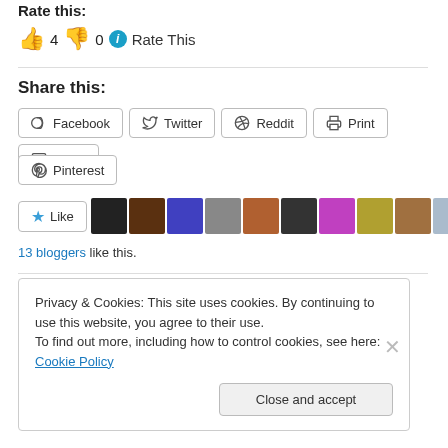Rate this:
👍 4 👎 0 ℹ Rate This
Share this:
Facebook  Twitter  Reddit  Print  Email
Pinterest
★ Like  [blogger avatars]
13 bloggers like this.
Privacy & Cookies: This site uses cookies. By continuing to use this website, you agree to their use.
To find out more, including how to control cookies, see here: Cookie Policy
Close and accept